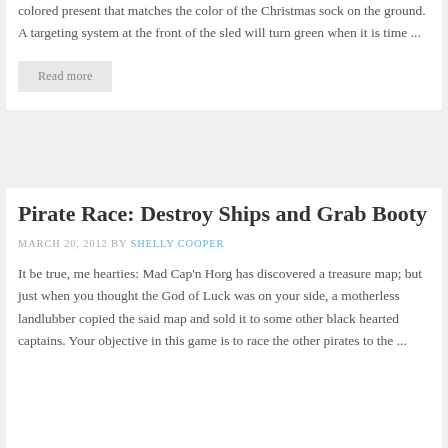colored present that matches the color of the Christmas sock on the ground. A targeting system at the front of the sled will turn green when it is time ...
Read more
Pirate Race: Destroy Ships and Grab Booty
MARCH 20, 2012 BY SHELLY COOPER
It be true, me hearties: Mad Cap'n Horg has discovered a treasure map; but just when you thought the God of Luck was on your side, a motherless landlubber copied the said map and sold it to some other black hearted captains. Your objective in this game is to race the other pirates to the ...